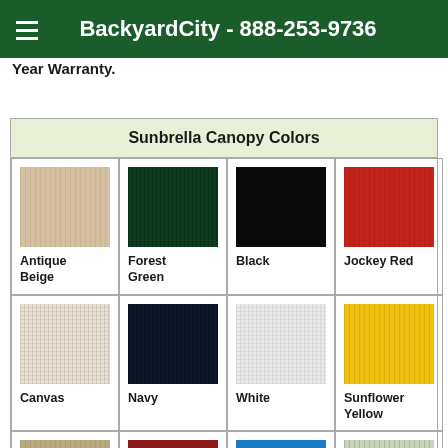BackyardCity - 888-253-9736
Year Warranty.
| Sunbrella Canopy Colors |
| --- |
| Antique Beige | Forest Green | Black | Jockey Red |
| Canvas | Navy | White | Sunflower Yellow |
| (partial) | (partial) | (partial) | (partial) |